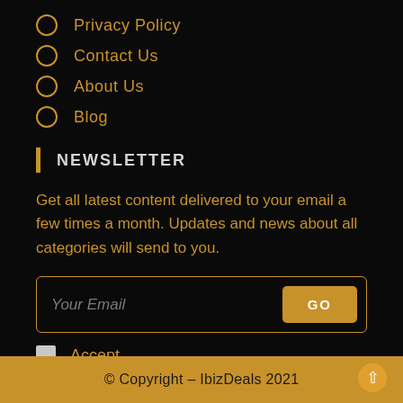Privacy Policy
Contact Us
About Us
Blog
Newsletter
Get all latest content delivered to your email a few times a month. Updates and news about all categories will send to you.
Your Email [input] GO
Accept [checkbox]
© Copyright - IbizDeals 2021